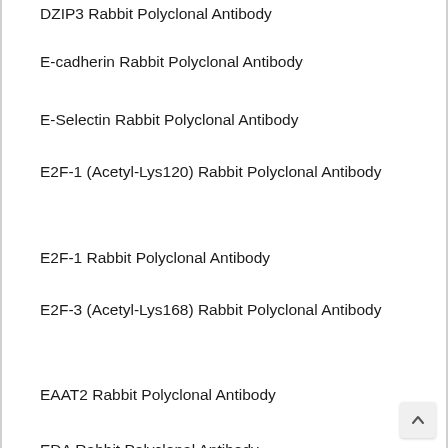DZIP3 Rabbit Polyclonal Antibody
E-cadherin Rabbit Polyclonal Antibody
E-Selectin Rabbit Polyclonal Antibody
E2F-1 (Acetyl-Lys120) Rabbit Polyclonal Antibody
E2F-1 Rabbit Polyclonal Antibody
E2F-3 (Acetyl-Lys168) Rabbit Polyclonal Antibody
EAAT2 Rabbit Polyclonal Antibody
EDA Rabbit Polyclonal Antibody
EDG-5 Rabbit Polyclonal Antibody